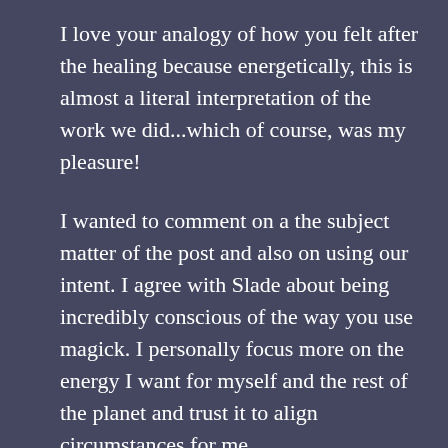I love your analogy of how you felt after the healing because energetically, this is almost a literal interpretation of the work we did...which of course, was my pleasure!
I wanted to comment on a the subject matter of the post and also on using our intent. I agree with Slade about being incredibly conscious of the way you use magick. I personally focus more on the energy I want for myself and the rest of the planet and trust it to align circumstances for me.